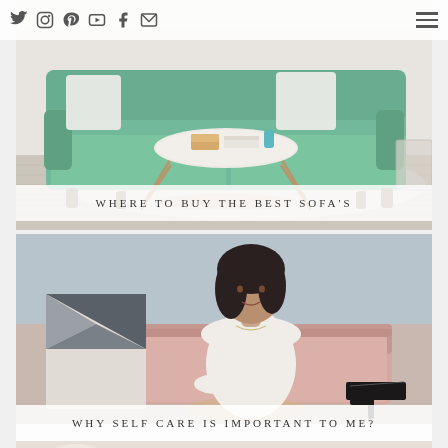Social media icons: Twitter, Instagram, Pinterest, YouTube, Facebook, Email | Hamburger menu
[Figure (photo): Interior photo of a green velvet sofa with a round marble and brass coffee table, books and decor items, light wood floor, neutral background]
WHERE TO BUY THE BEST SOFA'S
[Figure (photo): Woman with dark bob hair wearing a white off-shoulder knit sweater, seated on a pink sofa/daybed with geometric throw pillow, black heeled shoes beside her, light blue-grey wall background]
WHY SELF CARE IS IMPORTANT TO ME?
[Figure (photo): Partial view of a third article image at bottom - light colored fabric or floral arrangement]